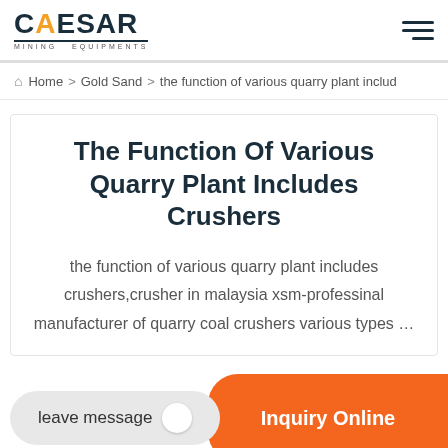CAESAR MINING EQUIPMENTS
Home > Gold Sand > the function of various quarry plant includ
The Function Of Various Quarry Plant Includes Crushers
the function of various quarry plant includes crushers,crusher in malaysia xsm-professinal manufacturer of quarry coal crushers various types …
leave message | Inquiry Online